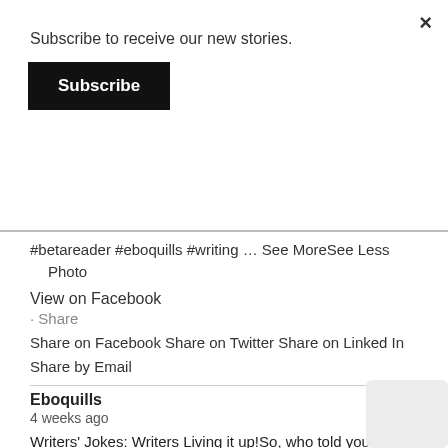×
Subscribe to receive our new stories.
Subscribe
#betareader #eboquills #writing … See MoreSee Less
Photo
View on Facebook
· Share
Share on Facebook Share on Twitter Share on Linked In Share by Email
Eboquills
4 weeks ago
Writers' Jokes: Writers Living it up!So, who told you that writers don't have fun or make fun of themselves? That person is wrong! Writers do have fun! They make fun o their art. They jest fellow writers, and they laugh at adjectives. We have compiled 36 writing and writer-quotes,